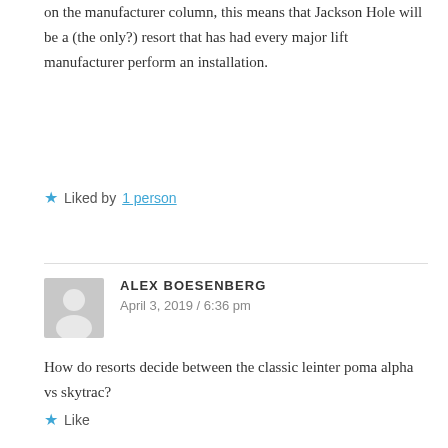on the manufacturer column, this means that Jackson Hole will be a (the only?) resort that has had every major lift manufacturer perform an installation.
Liked by 1 person
ALEX BOESENBERG
April 3, 2019 / 6:36 pm
How do resorts decide between the classic leinter poma alpha vs skytrac?
Like